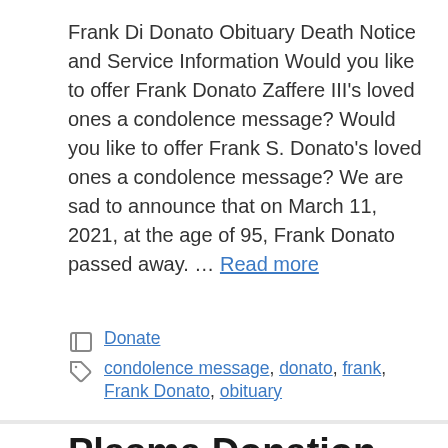Frank Di Donato Obituary Death Notice and Service Information Would you like to offer Frank Donato Zaffere III's loved ones a condolence message? Would you like to offer Frank S. Donato's loved ones a condolence message? We are sad to announce that on March 11, 2021, at the age of 95, Frank Donato passed away. … Read more
Donate
condolence message, donato, frank, Frank Donato, obituary
Plasma Donation